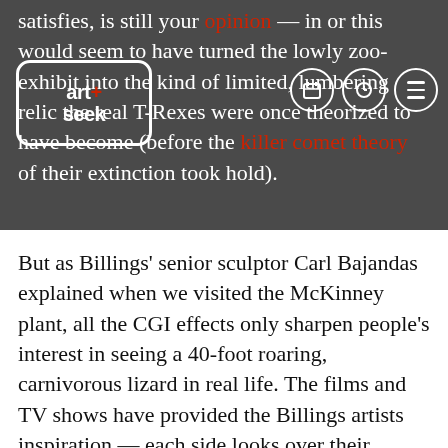satisfies, is still your opinion — in or this would seem to have turned the lowly zoo-exhibit into the kind of limited, lumbering relic the real T-Rexes were once theorized to have become (before the killer comet theory of their extinction took hold).
[Figure (logo): art+seek logo in white speech-bubble rounded rectangle outline]
[Figure (other): Navigation bar icons: calendar, search/clock, hamburger menu — white circles on dark background]
But as Billings' senior sculptor Carl Bajandas explained when we visited the McKinney plant, all the CGI effects only sharpen people's interest in seeing a 40-foot roaring, carnivorous lizard in real life. The films and TV shows have provided the Billings artists inspiration — each side looks over their shoulder at what the others are doing. And sometimes, they've corrected the movie's mistakes. The